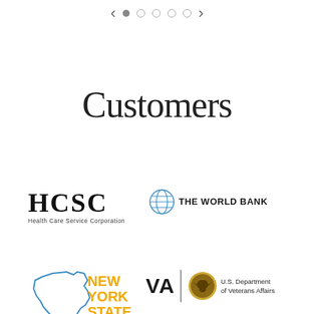[Figure (screenshot): Slide carousel navigation bar with left arrow, one filled dot (active), four empty circle dots, and right arrow]
Customers
[Figure (logo): HCSC Health Care Service Corporation logo]
[Figure (logo): The World Bank logo with globe icon]
[Figure (logo): New York State logo with state outline in blue and orange text]
[Figure (logo): VA U.S. Department of Veterans Affairs logo with eagle seal]
[Figure (logo): OTC logo partially visible at bottom right]